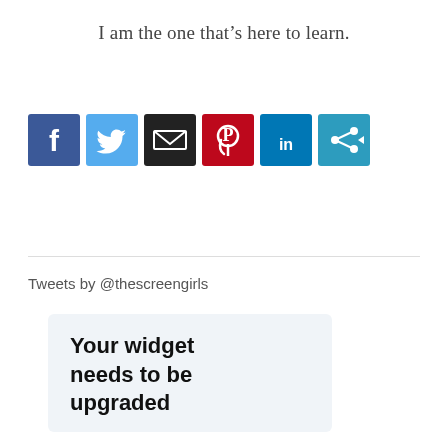I am the one that’s here to learn.
[Figure (other): Row of social sharing icon buttons: Facebook (blue), Twitter (light blue), Email (black), Pinterest (red), LinkedIn (blue), Share (teal)]
Tweets by @thescreengirls
Your widget needs to be upgraded